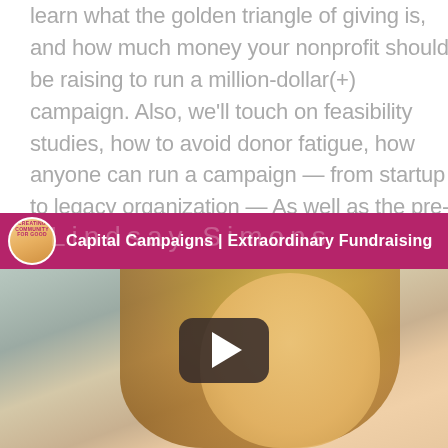learn what the golden triangle of giving is, and how much money your nonprofit should be raising to run a million-dollar(+) campaign. Also, we'll touch on feasibility studies, how to avoid donor fatigue, how anyone can run a campaign — from startup to legacy organization — As well as the pre-work to ensure you're ready to go and the kinds of volunteer structures that set you up for success.
[Figure (screenshot): YouTube-style video thumbnail showing Lindsay Simons with a magenta top bar reading 'Capital Campaigns | Extraordinary Fundraising' with a circular avatar/logo on the left, watermark text 'Lindsay Simons' in the bar, a blonde woman visible in the video frame, and a play button centered on the thumbnail.]